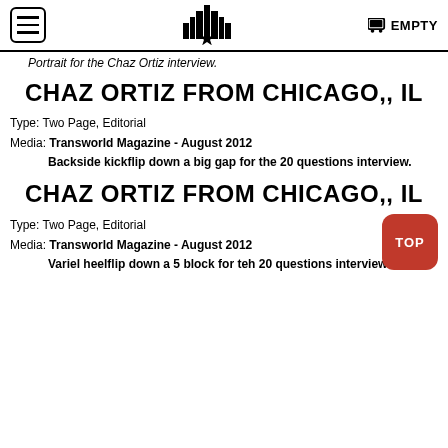EMPTY
Portrait for the Chaz Ortiz interview.
CHAZ ORTIZ FROM CHICAGO,, IL
Type: Two Page, Editorial
Media: Transworld Magazine - August 2012
Backside kickflip down a big gap for the 20 questions interview.
CHAZ ORTIZ FROM CHICAGO,, IL
Type: Two Page, Editorial
Media: Transworld Magazine - August 2012
Variel heelflip down a 5 block for teh 20 questions interview.